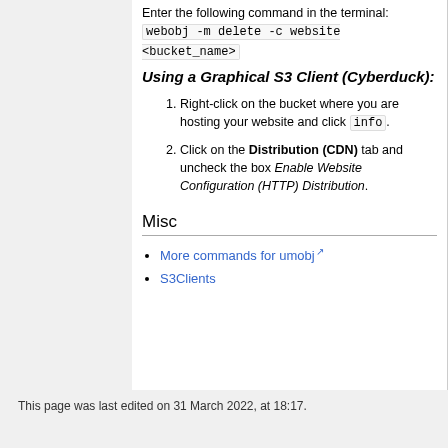Enter the following command in the terminal: webobj -m delete -c website <bucket_name>
Using a Graphical S3 Client (Cyberduck):
1. Right-click on the bucket where you are hosting your website and click info.
2. Click on the Distribution (CDN) tab and uncheck the box Enable Website Configuration (HTTP) Distribution.
Misc
More commands for umobj
S3Clients
This page was last edited on 31 March 2022, at 18:17.